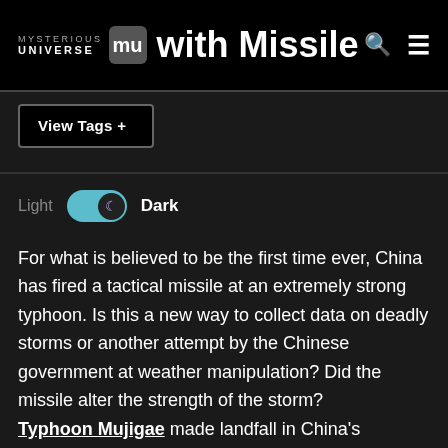MYSTERIOUS UNIVERSE — China Shoots Typhoon Mujigae with Missile
[Figure (logo): Mysterious Universe logo with MU initials]
View Tags +
[Figure (other): Dark mode toggle switch showing Light / Dark with toggle set to Dark]
For what is believed to be the first time ever, China has fired a tactical missile at an extremely strong typhoon. Is this a new way to collect data on deadly storms or another attempt by the Chinese government at weather manipulation? Did the missile alter the strength of the storm?
Typhoon Mujigae made landfall in China's